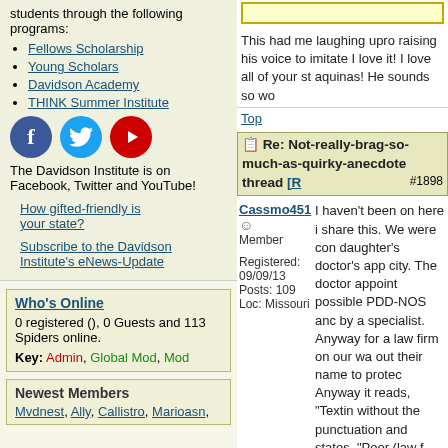students through the following programs:
Fellows Scholarship
Young Scholars
Davidson Academy
THINK Summer Institute
[Figure (logo): Facebook, Twitter, and YouTube social media icons]
The Davidson Institute is on Facebook, Twitter and YouTube!
How gifted-friendly is your state?
Subscribe to the Davidson Institute's eNews-Update
Who's Online
0 registered (), 0 Guests and 113 Spiders online.
Key: Admin, Global Mod, Mod
Newest Members
Mvdnest, Ally, Callistro, Marioasn,
This had me laughing upro raising his voice to imitate I love it! I love all of your st aquinas! He sounds so wo
Top
Re: Not-really-brag-so-much-as-quirky-anecdote thread
#1898
Cassmo451 I haven't been on here i share this. We were con daughter's doctor's app city. The doctor appoint possible PDD-NOS anc by a specialist. Anyway for a law firm on our wa out their name to protec Anyway it reads, "Textin without the punctuation and states, "Poor (law f giggles and says "Punc
Member
Registered: 09/09/13
Posts: 109
Loc: Missouri
I am beginning to wond has problems with socia humor is on a much hig kids her age?